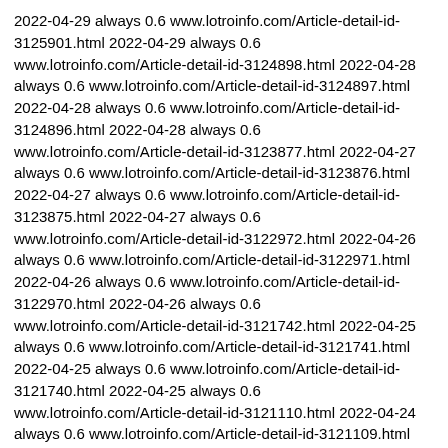2022-04-29 always 0.6 www.lotroinfo.com/Article-detail-id-3125901.html 2022-04-29 always 0.6 www.lotroinfo.com/Article-detail-id-3124898.html 2022-04-28 always 0.6 www.lotroinfo.com/Article-detail-id-3124897.html 2022-04-28 always 0.6 www.lotroinfo.com/Article-detail-id-3124896.html 2022-04-28 always 0.6 www.lotroinfo.com/Article-detail-id-3123877.html 2022-04-27 always 0.6 www.lotroinfo.com/Article-detail-id-3123876.html 2022-04-27 always 0.6 www.lotroinfo.com/Article-detail-id-3123875.html 2022-04-27 always 0.6 www.lotroinfo.com/Article-detail-id-3122972.html 2022-04-26 always 0.6 www.lotroinfo.com/Article-detail-id-3122971.html 2022-04-26 always 0.6 www.lotroinfo.com/Article-detail-id-3122970.html 2022-04-26 always 0.6 www.lotroinfo.com/Article-detail-id-3121742.html 2022-04-25 always 0.6 www.lotroinfo.com/Article-detail-id-3121741.html 2022-04-25 always 0.6 www.lotroinfo.com/Article-detail-id-3121740.html 2022-04-25 always 0.6 www.lotroinfo.com/Article-detail-id-3121110.html 2022-04-24 always 0.6 www.lotroinfo.com/Article-detail-id-3121109.html 2022-04-24 always 0.6 www.lotroinfo.com/Article-detail-id-3121108.html 2022-04-24 always 0.6 www.lotroinfo.com/Article-detail-id-3120177.html 2022-04-23 always 0.6 www.lotroinfo.com/Article-detail-id-3120175.html 2022-04-23 always 0.6 www.lotroinfo.com/Article-detail-id-3120176.html 2022-04-23 always 0.6 www.lotroinfo.com/Article-detail-id-3119274.html